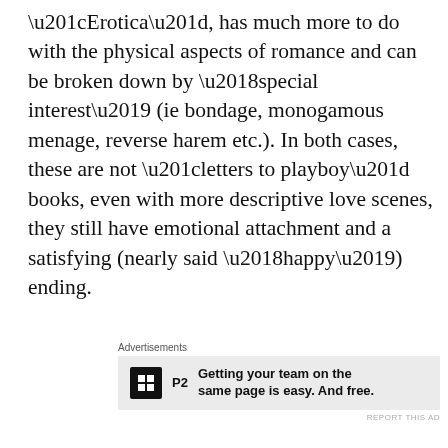“Erotica”, has much more to do with the physical aspects of romance and can be broken down by ‘special interest’ (ie bondage, monogamous menage, reverse harem etc.). In both cases, these are not “letters to playboy” books, even with more descriptive love scenes, they still have emotional attachment and a satisfying (nearly said ‘happy’) ending.
[Figure (infographic): Advertisement for P2 app: logo showing a black square with a grid icon and P2 text, with bold text 'Getting your team on the same page is easy. And free.']
Well, there you have it. If you write romance, and especially if you’re looking to query your manuscript,
[Figure (infographic): Advertisement for Jetpack: green background with Jetpack logo (lightning bolt in circle) and text 'Jetpack' and a white button 'Back up your site']